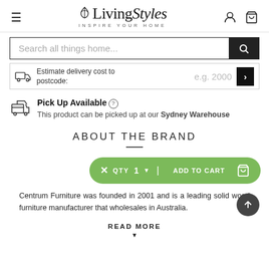[Figure (logo): LivingStyles logo with leaf icon and tagline INSPIRE YOUR HOME]
[Figure (screenshot): Search bar with text 'Search all things home...' and search button]
Estimate delivery cost to postcode:  e.g. 2000
Pick Up Available
This product can be picked up at our Sydney Warehouse
ABOUT THE BRAND
[Figure (screenshot): Add to cart bar with QTY 1 and ADD TO CART button in green]
Centrum Furniture was founded in 2001 and is a leading solid wood furniture manufacturer that wholesales in Australia.
READ MORE